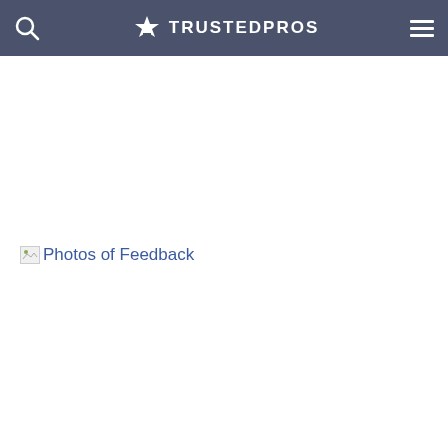TRUSTEDPROS
Photos of Feedback